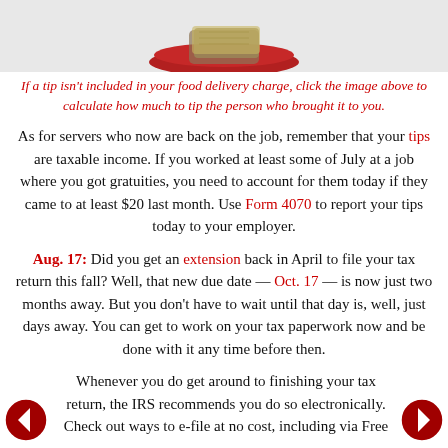[Figure (photo): Photo of a food delivery tray with cash/money on it, red tray visible]
If a tip isn't included in your food delivery charge, click the image above to calculate how much to tip the person who brought it to you.
As for servers who now are back on the job, remember that your tips are taxable income. If you worked at least some of July at a job where you got gratuities, you need to account for them today if they came to at least $20 last month. Use Form 4070 to report your tips today to your employer.
Aug. 17: Did you get an extension back in April to file your tax return this fall? Well, that new due date — Oct. 17 — is now just two months away. But you don't have to wait until that day is, well, just days away. You can get to work on your tax paperwork now and be done with it any time before then.
Whenever you do get around to finishing your tax return, the IRS recommends you do so electronically. Check out ways to e-file at no cost, including via Free File, which lets you prepare your form. The official ...